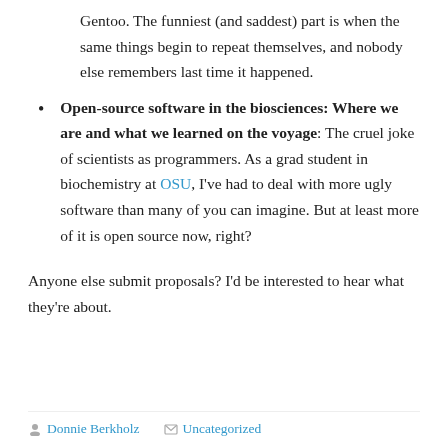Gentoo. The funniest (and saddest) part is when the same things begin to repeat themselves, and nobody else remembers last time it happened.
Open-source software in the biosciences: Where we are and what we learned on the voyage: The cruel joke of scientists as programmers. As a grad student in biochemistry at OSU, I’ve had to deal with more ugly software than many of you can imagine. But at least more of it is open source now, right?
Anyone else submit proposals? I’d be interested to hear what they’re about.
Donnie Berkholz    Uncategorized